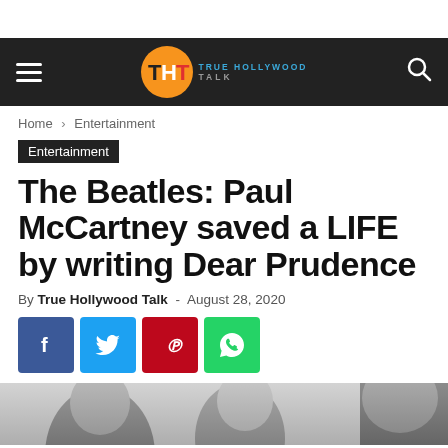True Hollywood Talk
Home › Entertainment
Entertainment
The Beatles: Paul McCartney saved a LIFE by writing Dear Prudence
By True Hollywood Talk - August 28, 2020
[Figure (other): Social share buttons: Facebook (blue), Twitter (light blue), Pinterest (red), WhatsApp (green)]
[Figure (photo): Black and white photo strip at the bottom of the page showing people's heads/faces]